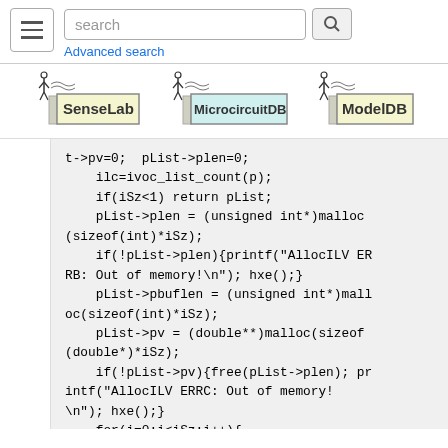search [search button] Advanced search
[Figure (logo): SenseLab logo]
[Figure (logo): MicrocircuitDB logo]
[Figure (logo): ModelDB logo]
t->pv=0;  pList->plen=0;
    ilc=ivoc_list_count(p);
    if(iSz<1) return pList;
    pList->plen = (unsigned int*)malloc(sizeof(int)*iSz);
    if(!pList->plen){printf("AllocILV ERRB: Out of memory!\n"); hxe();}
    pList->pbuflen = (unsigned int*)malloc(sizeof(int)*iSz);
    pList->pv = (double**)malloc(sizeof(double*)*iSz);
    if(!pList->pv){free(pList->plen); printf("AllocILV ERRC: Out of memory!\n"); hxe();}
    for(i=0;i<iSz;i++){
        if ((j=(int)x[i])>=ilc){printf("AllocILV ERRD: index OOB: %d>=%d\n",j,ilc); hxe();}
            obv = ivoc_list_item(p,j);